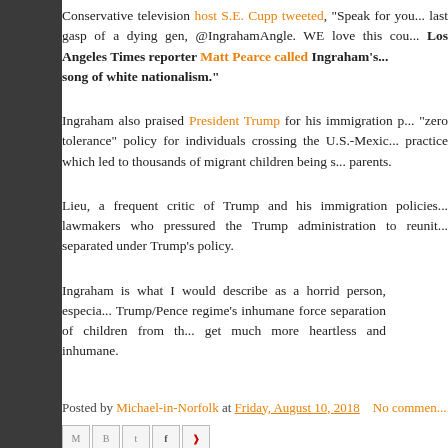Conservative television host S.E. Cupp tweeted, "Speak for you... last gasp of a dying gen, @IngrahamAngle. WE love this cou... Los Angeles Times reporter Matt Pearce called Ingraham's ... song of white nationalism."
Ingraham also praised President Trump for his immigration p... "zero tolerance" policy for individuals crossing the U.S.-Mexic... practice which led to thousands of migrant children being s... parents.
Lieu, a frequent critic of Trump and his immigration policies... lawmakers who pressured the Trump administration to reunit... separated under Trump's policy.
Ingraham is what I would describe as a horrid person, especia... Trump/Pence regime's inhumane force separation of children from th... get much more heartless and inhumane.
Posted by Michael-in-Norfolk at Friday, August 10, 2018   No commen...
[Figure (other): Social share icons: email, blog, twitter, facebook, pinterest]
Labels: anti-Hispanic animus, family separations, Fox News, GOP Base... GOP racism, Laura Ingraham, white nationals
Friday Morning Male Beauty